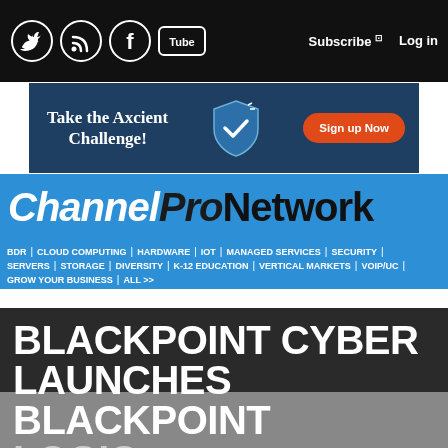Social icons: Twitter, RSS, Facebook, YouTube | Subscribe | Log in
[Figure (infographic): Axcient ad banner: Take the Axcient Challenge! Sign up Now button]
ChannelPro Network
BDR | CLOUD COMPUTING | HARDWARE | IOT | MANAGED SERVICES | SECURITY | SERVERS | STORAGE | DIVERSITY | K-12 EDUCATION | VERTICAL MARKETS | VOIP/UC | GROW YOUR BUSINESS | ALL >>
BLACKPOINT CYBER LAUNCHES BLACKPOINT LOGIC